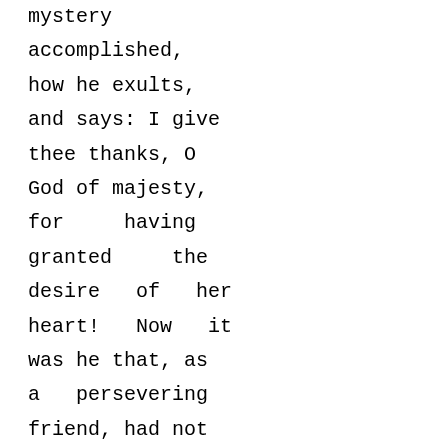mystery accomplished, how he exults, and says: I give thee thanks, O God of majesty, for having granted the desire of her heart! Now it was he that, as a persevering friend, had not ceased, on the way, to murmur into the soul's ear: Delight in